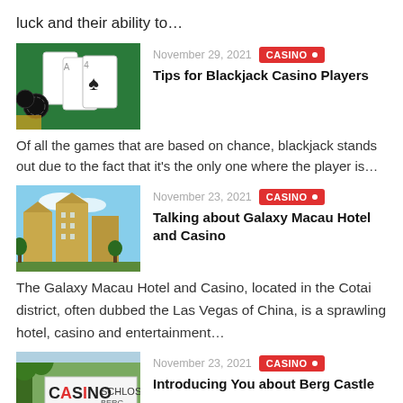luck and their ability to…
[Figure (photo): Casino cards and chips on a green felt table]
November 29, 2021
CASINO
Tips for Blackjack Casino Players
Of all the games that are based on chance, blackjack stands out due to the fact that it's the only one where the player is…
[Figure (photo): Galaxy Macau Hotel and Casino towers exterior]
November 23, 2021
CASINO
Talking about Galaxy Macau Hotel and Casino
The Galaxy Macau Hotel and Casino, located in the Cotai district, often dubbed the Las Vegas of China, is a sprawling hotel, casino and entertainment…
[Figure (photo): Casino Schloss Berg sign exterior]
November 23, 2021
CASINO
Introducing You about Berg Castle